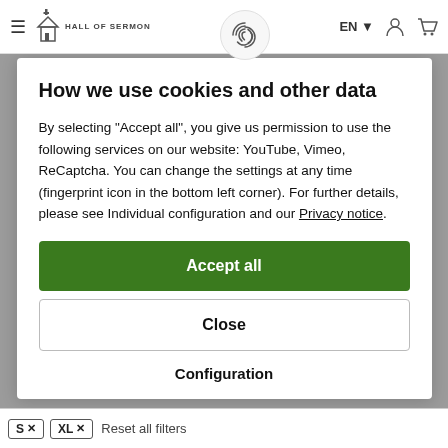Hall of Sermon — EN — navigation bar
How we use cookies and other data
By selecting "Accept all", you give us permission to use the following services on our website: YouTube, Vimeo, ReCaptcha. You can change the settings at any time (fingerprint icon in the bottom left corner). For further details, please see Individual configuration and our Privacy notice.
Accept all
Close
Configuration
S × XL × Reset all filters